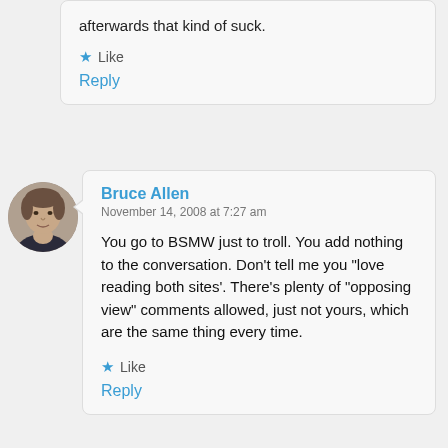afterwards that kind of suck.
Like
Reply
Bruce Allen
November 14, 2008 at 7:27 am
You go to BSMW just to troll. You add nothing to the conversation. Don't tell me you "love reading both sites'. There's plenty of "opposing view" comments allowed, just not yours, which are the same thing every time.
Like
Reply